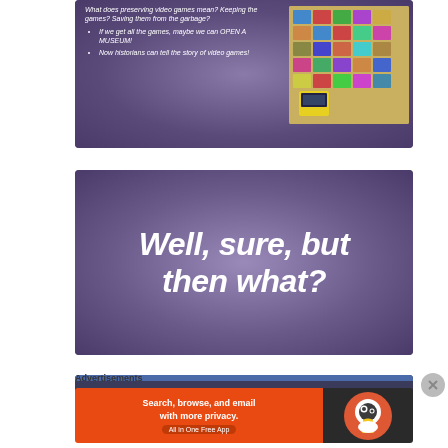[Figure (screenshot): Photograph of a projected presentation slide on a purple background. The slide reads: 'What does preserving video games mean? Keeping the games? Saving them from the garbage?' with bullet points: 'If we get all the games, maybe we can OPEN A MUSEUM!' and 'Now historians can tell the story of video games!' alongside an image of game cartridges/cases.]
[Figure (screenshot): Photograph of a projected presentation slide on a purple background with large white bold italic text reading 'Well, sure, but then what?']
[Figure (screenshot): Partial view of a third presentation slide at the bottom of the page, mostly cut off.]
Advertisements
[Figure (screenshot): DuckDuckGo advertisement banner: 'Search, browse, and email with more privacy. All in One Free App' with DuckDuckGo logo on right side.]